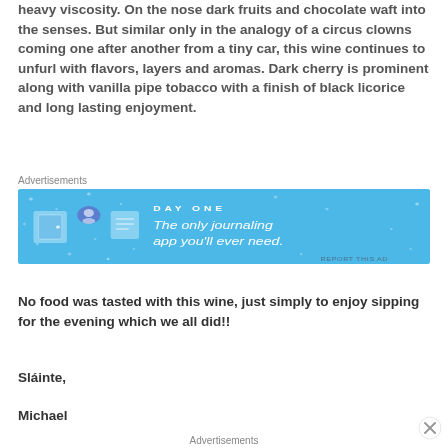heavy viscosity. On the nose dark fruits and chocolate waft into the senses. But similar only in the analogy of a circus clowns coming one after another from a tiny car, this wine continues to unfurl with flavors, layers and aromas. Dark cherry is prominent along with vanilla pipe tobacco with a finish of black licorice and long lasting enjoyment.
[Figure (other): Advertisement banner for Day One journaling app with blue background, icons, and tagline 'The only journaling app you'll ever need.']
No food was tasted with this wine, just simply to enjoy sipping for the evening which we all did!!
Sláinte,
Michael